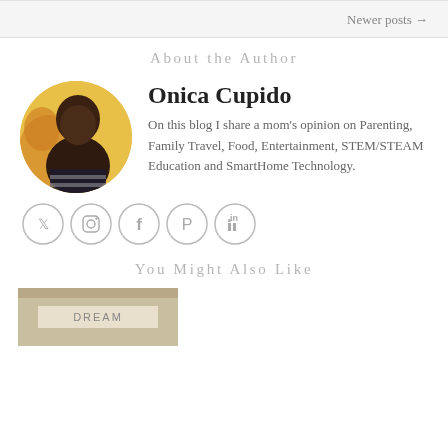Newer posts →
About the Author
[Figure (photo): Circular portrait photo of Onica Cupido, a woman smiling, wearing a striped top, with a yellow/orange abstract background.]
Onica Cupido
On this blog I share a mom's opinion on Parenting, Family Travel, Food, Entertainment, STEM/STEAM Education and SmartHome Technology.
[Figure (illustration): Social media icons: Twitter, Instagram, Facebook, Pinterest, LinkedIn — circular outlined icons in gray.]
You Might Also Like
[Figure (photo): Thumbnail image showing a product with the word DREAM on it.]